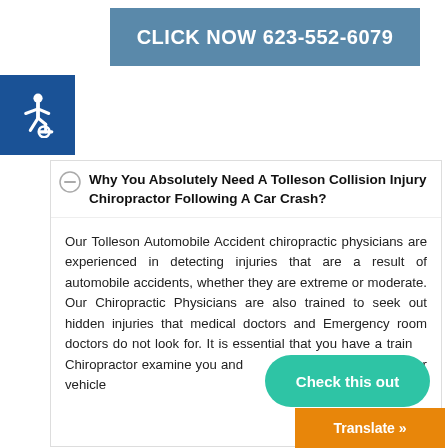CLICK NOW 623-552-6079
[Figure (logo): International Symbol of Access (wheelchair accessibility icon) on blue background]
Why You Absolutely Need A Tolleson Collision Injury Chiropractor Following A Car Crash?
Our Tolleson Automobile Accident chiropractic physicians are experienced in detecting injuries that are a result of automobile accidents, whether they are extreme or moderate. Our Chiropractic Physicians are also trained to seek out hidden injuries that medical doctors and Emergency room doctors do not look for. It is essential that you have a trained Chiropractor examine you and your immediately after a motor vehicle